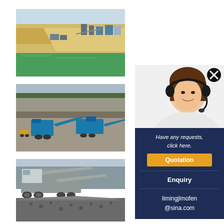[Figure (photo): Aerial view of an open-pit quarry with sandy terrain, green water pool at bottom, and industrial machinery/conveyors in the background]
[Figure (photo): Open-pit quarry with blue/teal mobile crushing and screening equipment lined up on terraced rock face]
[Figure (photo): Mobile crushing/screening plant with conveyor belts surrounded by crushed stone aggregate pile]
[Figure (photo): Customer service representative woman with headset smiling, with close button (X) overlay]
Have any requests, click here.
Quotation
Enquiry
limingjlmofen@sina.com